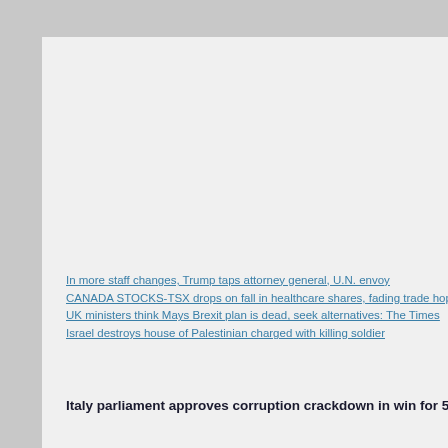In more staff changes, Trump taps attorney general, U.N. envoy
CANADA STOCKS-TSX drops on fall in healthcare shares, fading trade hopes
UK ministers think Mays Brexit plan is dead, seek alternatives: The Times
Israel destroys house of Palestinian charged with killing soldier
Italy parliament approves corruption crackdown in win for 5-Sta